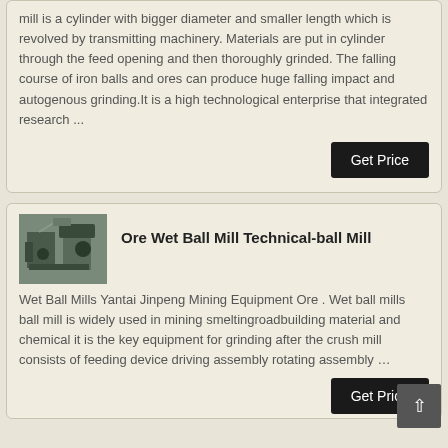mill is a cylinder with bigger diameter and smaller length which is revolved by transmitting machinery. Materials are put in cylinder through the feed opening and then thoroughly grinded. The falling course of iron balls and ores can produce huge falling impact and autogenous grinding.It is a high technological enterprise that integrated research ...
Get Price
[Figure (photo): Photo of industrial ore wet ball mill machine equipment]
Ore Wet Ball Mill Technical-ball Mill
Wet Ball Mills Yantai Jinpeng Mining Equipment Ore . Wet ball mills ball mill is widely used in mining smeltingroadbuilding material and chemical it is the key equipment for grinding after the crush mill consists of feeding device driving assembly rotating assembly …
Get Price